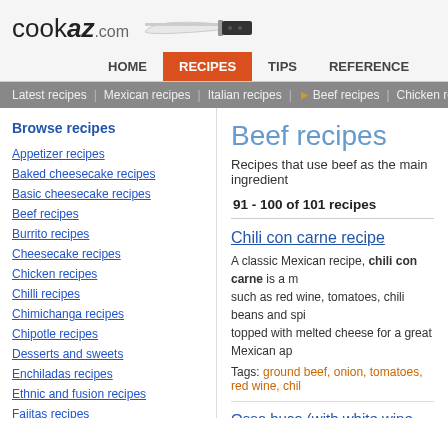cookaz.com
HOME | RECIPES | TIPS | REFERENCE
Latest recipes | Mexican recipes | Italian recipes | Beef recipes | Chicken recipes
Browse recipes
Appetizer recipes
Baked cheesecake recipes
Basic cheesecake recipes
Beef recipes
Burrito recipes
Cheesecake recipes
Chicken recipes
Chilli recipes
Chimichanga recipes
Chipotle recipes
Desserts and sweets
Enchiladas recipes
Ethnic and fusion recipes
Fajitas recipes
Italian recipes
Beef recipes
Recipes that use beef as the main ingredient
91 - 100 of 101 recipes
Chili con carne recipe
A classic Mexican recipe, chili con carne is a m... such as red wine, tomatoes, chili beans and spi... topped with melted cheese for a great Mexican ap...
Tags: ground beef, onion, tomatoes, red wine, chil...
Osso buco (with white wine and rosemary) reci...
Another recipe for Osso buco, an Italian classic ve... in a stock made of vegetables, herbs (oregano, thy...